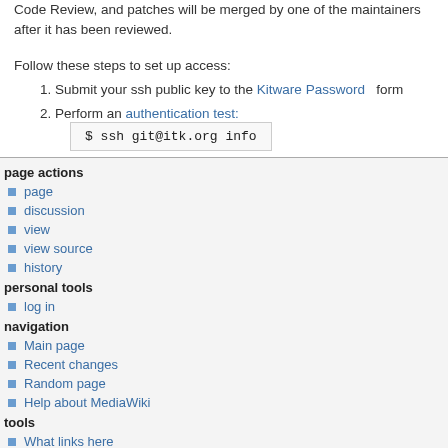Code Review, and patches will be merged by one of the maintainers after it has been reviewed.
Follow these steps to set up access:
1. Submit your ssh public key to the Kitware Password form
2. Perform an authentication test:
page actions
page
discussion
view
view source
history
personal tools
log in
navigation
Main page
Recent changes
Random page
Help about MediaWiki
tools
What links here
Related changes
Special pages